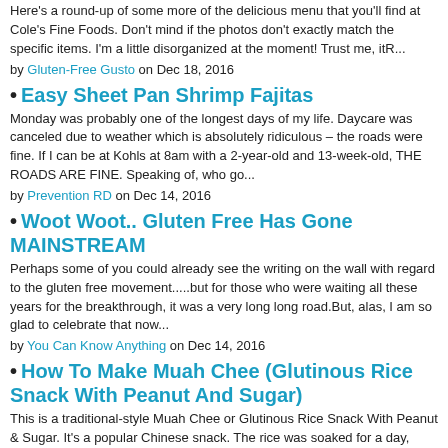Here's a round-up of some more of the delicious menu that you'll find at Cole's Fine Foods. Don't mind if the photos don't exactly match the specific items. I'm a little disorganized at the moment! Trust me, itR...
by Gluten-Free Gusto on Dec 18, 2016
Easy Sheet Pan Shrimp Fajitas
Monday was probably one of the longest days of my life. Daycare was canceled due to weather which is absolutely ridiculous – the roads were fine. If I can be at Kohls at 8am with a 2-year-old and 13-week-old, THE ROADS ARE FINE. Speaking of, who go...
by Prevention RD on Dec 14, 2016
Woot Woot.. Gluten Free Has Gone MAINSTREAM
Perhaps some of you could already see the writing on the wall with regard to the gluten free movement.....but for those who were waiting all these years for the breakthrough, it was a very long long road.But, alas, I am so glad to celebrate that now...
by You Can Know Anything on Dec 14, 2016
How To Make Muah Chee (Glutinous Rice Snack With Peanut And Sugar)
This is a traditional-style Muah Chee or Glutinous Rice Snack With Peanut & Sugar. It's a popular Chinese snack. The rice was soaked for a day, steamed and pounded, or in this case with a help of a mixer. The texture of the dough is smooth, elast...
by seasaltwithfood on Dec 13, 2016
Good Foods Gluten-Free Cranberry Almond Chicken Salad